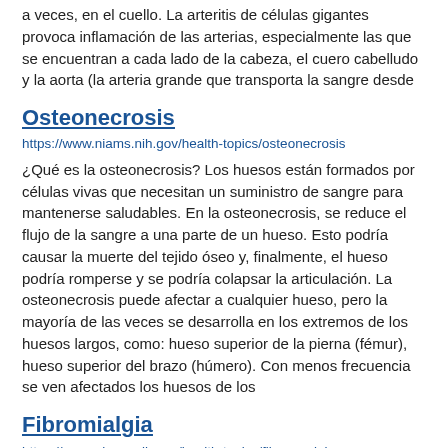a veces, en el cuello. La arteritis de células gigantes provoca inflamación de las arterias, especialmente las que se encuentran a cada lado de la cabeza, el cuero cabelludo y la aorta (la arteria grande que transporta la sangre desde
Osteonecrosis
https://www.niams.nih.gov/health-topics/osteonecrosis
¿Qué es la osteonecrosis? Los huesos están formados por células vivas que necesitan un suministro de sangre para mantenerse saludables. En la osteonecrosis, se reduce el flujo de la sangre a una parte de un hueso. Esto podría causar la muerte del tejido óseo y, finalmente, el hueso podría romperse y se podría colapsar la articulación. La osteonecrosis puede afectar a cualquier hueso, pero la mayoría de las veces se desarrolla en los extremos de los huesos largos, como: hueso superior de la pierna (fémur), hueso superior del brazo (húmero). Con menos frecuencia se ven afectados los huesos de los
Fibromialgia
https://www.niams.nih.gov/health-topics/fibromyalgia
¿Qué es la fibromialgia? La fibromialgia es un trastorno crónico (de larga duración) que causa dolor y sensibilidad en todo el cuerpo. También puede hacer que se sienta demasiado cansado (fatiga) y